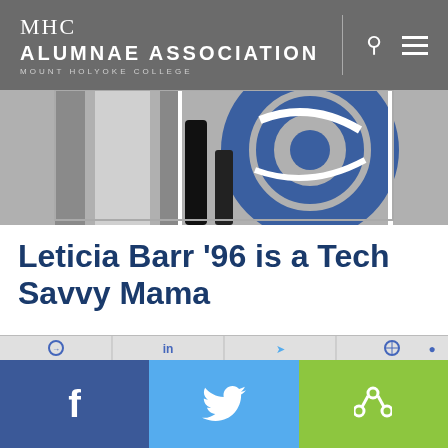MHC ALUMNAE ASSOCIATION MOUNT HOLYOKE COLLEGE
[Figure (illustration): Partial decorative graphic showing abstract shapes in blue, grey, black and white, cropped at top]
Leticia Barr '96 is a Tech Savvy Mama
If you have ever wished you were a more technology-literate parent, or alternatively that you knew other parents as tech savvy as you, then check out
[Figure (infographic): Social share button bar: Facebook (blue), Twitter (light blue), Share (green) with icons f, bird, share]